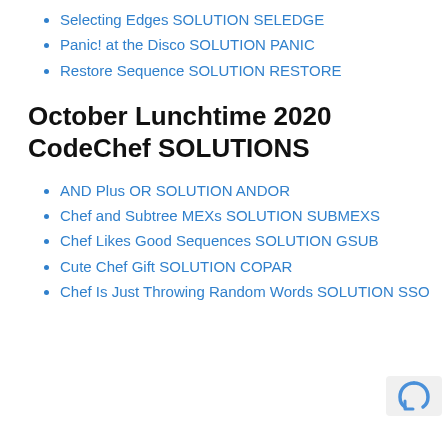Selecting Edges SOLUTION SELEDGE
Panic! at the Disco SOLUTION PANIC
Restore Sequence SOLUTION RESTORE
October Lunchtime 2020 CodeChef SOLUTIONS
AND Plus OR SOLUTION ANDOR
Chef and Subtree MEXs SOLUTION SUBMEXS
Chef Likes Good Sequences SOLUTION GSUB
Cute Chef Gift SOLUTION COPAR
Chef Is Just Throwing Random Words SOLUTION SSO